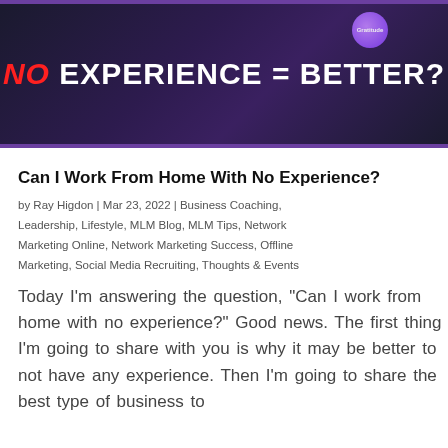[Figure (screenshot): Video thumbnail with dark purple background showing text 'NO EXPERIENCE = BETTER?' with 'NO' in red italic and the rest in white bold uppercase letters. A purple circular logo is visible in the upper right area.]
Can I Work From Home With No Experience?
by Ray Higdon | Mar 23, 2022 | Business Coaching, Leadership, Lifestyle, MLM Blog, MLM Tips, Network Marketing Online, Network Marketing Success, Offline Marketing, Social Media Recruiting, Thoughts & Events
Today I'm answering the question, “Can I work from home with no experience?” Good news. The first thing I'm going to share with you is why it may be better to not have any experience. Then I'm going to share the best type of business to